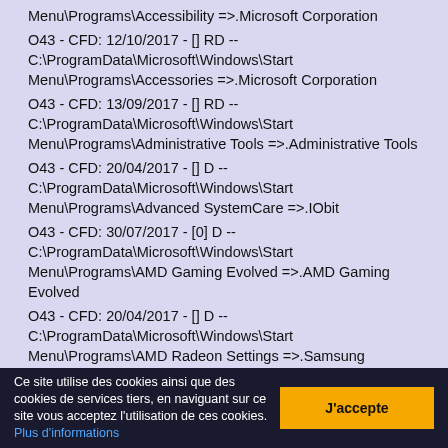Menu\Programs\Accessibility =>.Microsoft Corporation
O43 - CFD: 12/10/2017 - [] RD -- C:\ProgramData\Microsoft\Windows\Start Menu\Programs\Accessories =>.Microsoft Corporation
O43 - CFD: 13/09/2017 - [] RD -- C:\ProgramData\Microsoft\Windows\Start Menu\Programs\Administrative Tools =>.Administrative Tools
O43 - CFD: 20/04/2017 - [] D -- C:\ProgramData\Microsoft\Windows\Start Menu\Programs\Advanced SystemCare =>.IObit
O43 - CFD: 30/07/2017 - [0] D -- C:\ProgramData\Microsoft\Windows\Start Menu\Programs\AMD Gaming Evolved =>.AMD Gaming Evolved
O43 - CFD: 20/04/2017 - [] D -- C:\ProgramData\Microsoft\Windows\Start Menu\Programs\AMD Radeon Settings =>.Samsung Electronics
O43 - CFD: 18/05/2017 - [] D -- C:\ProgramData\Microsoft\Windows\Start
Ce site utilise des cookies ainsi que des cookies de services tiers, en naviguant sur ce site vous acceptez l'utilisation de ces cookies. Plus d'informations
J'accepte